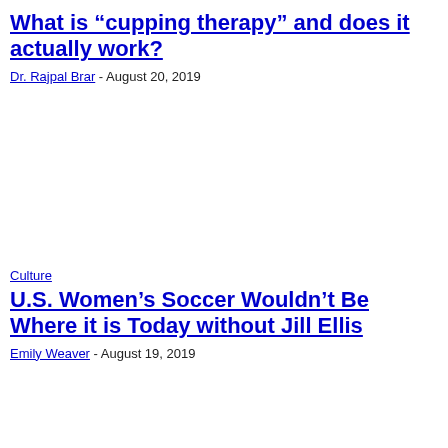What is “cupping therapy” and does it actually work?
Dr. Rajpal Brar - August 20, 2019
Culture
U.S. Women’s Soccer Wouldn’t Be Where it is Today without Jill Ellis
Emily Weaver - August 19, 2019